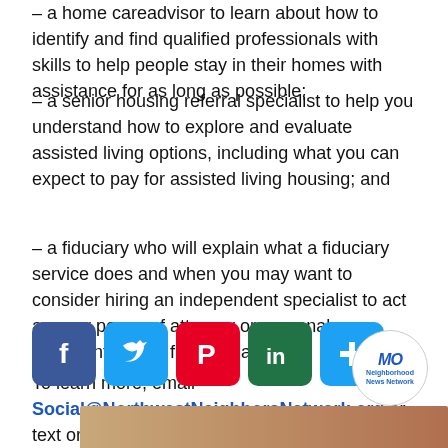a home careadvisor to learn about how to identify and find qualified professionals with skills to help people stay in their homes with assistance for as long as possible;
– a senior housing referral specialist to help you understand how to explore and evaluate assisted living options, including what you can expect to pay for assisted living housing; and
– a fiduciary who will explain what a fiduciary service does and when you may want to consider hiring an independent specialist to act as your power of attorney or personal representative in financial areas.
To learn more, email Social@NorthwestNeighborsNetwork.org or text or call 253-237-2848
[Figure (infographic): Social media icons: Facebook (blue), Twitter (blue), Pinterest (red), LinkedIn (green), Share (blue). Neighborhood News Network logo circle in top right.]
[Figure (photo): Partial image at bottom of page, appears to be a photograph.]